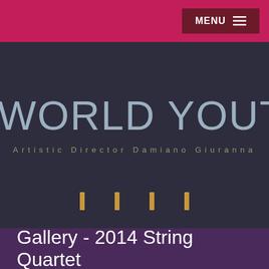MENU ≡
WORLD YOUTH OR
Artistic Director Damiano Giuranna
[Figure (other): Four small vertical rectangle navigation icons in gold/orange color]
Gallery - 2014 String Quartet